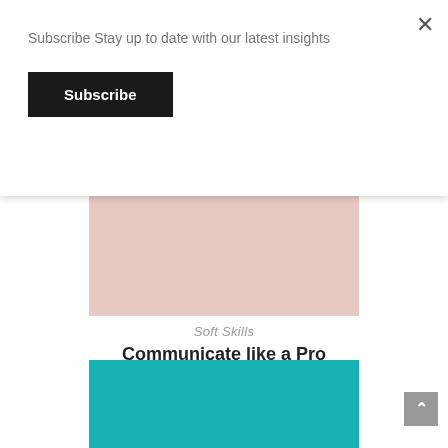Subscribe Stay up to date with our latest insights
Subscribe
×
[Figure (illustration): Pink/rose colored rectangular background for product image]
Soft Skills
Communicate like a Pro
₦3,000
Add to cart
[Figure (illustration): Teal/turquoise colored rectangular background for next product image]